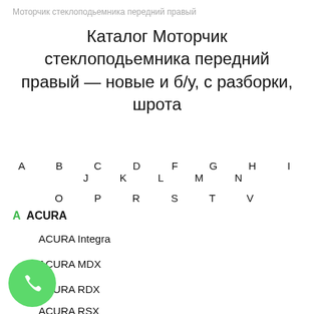Моторчик стеклоподьемника передний правый
Каталог Моторчик стеклоподьемника передний правый — новые и б/у, с разборки, шрота
A  B  C  D  F  G  H  I  J  K  L  M  N
O  P  R  S  T  V
A  ACURA
ACURA Integra
ACURA MDX
ACURA RDX
ACURA RSX